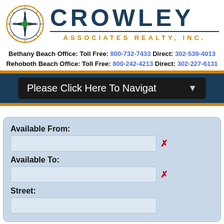[Figure (logo): Crowley Associates Realty Inc. logo with compass rose and company name]
Bethany Beach Office: Toll Free: 800-732-7433 Direct: 302-539-4013
Rehoboth Beach Office: Toll Free: 800-242-4213 Direct: 302-227-6131
Please Click Here To Navigate
Available From:
Available To:
Street: